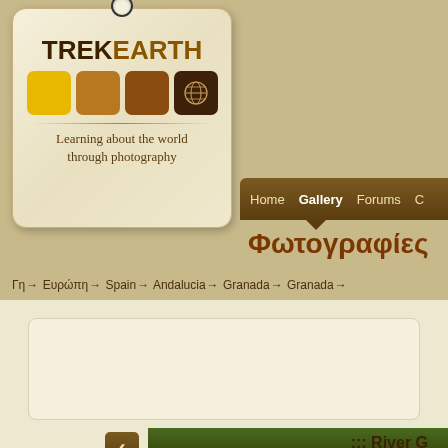[Figure (logo): TrekEarth logo: a tag-shaped card with string, showing TREKEARTH text, four colored squares (yellow, golden-brown, dark brown, near-black with world map icon), and subtitle 'Learning about the world through photography']
Home   Gallery   Forums   C…
Φωτογραφίες
Γη → Ευρώπη → Spain → Andalucia → Granada → Granada →
::: River G…